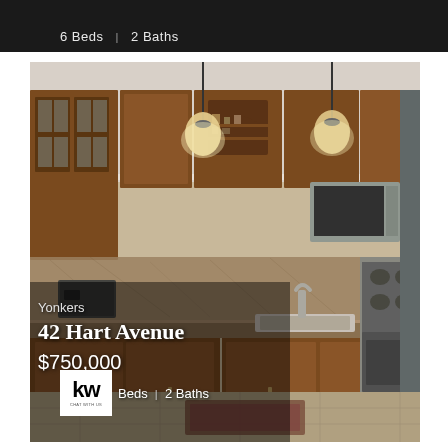6 Beds  |  2 Baths
[Figure (photo): Interior kitchen photo showing wooden cabinets, granite backsplash, stainless steel appliances including oven and microwave, sink, pendant lighting, with property overlay text showing Yonkers, 42 Hart Avenue, $750,000]
Yonkers
42 Hart Avenue
$750,000
Beds  |  2 Baths
[Figure (logo): Keller Williams KW logo in white box, bottom left corner]